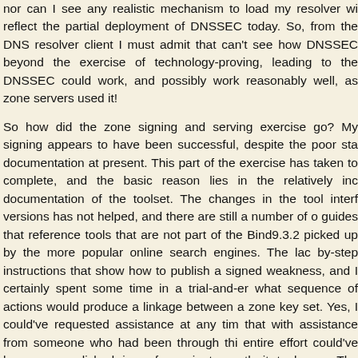nor can I see any realistic mechanism to load my resolver wi reflect the partial deployment of DNSSEC today. So, from the DNS resolver client I must admit that can't see how DNSSEC beyond the exercise of technology-proving, leading to the DNSSEC could work, and possibly work reasonably well, as zone servers used it!
So how did the zone signing and serving exercise go? My signing appears to have been successful, despite the poor sta documentation at present. This part of the exercise has taken to complete, and the basic reason lies in the relatively inc documentation of the toolset. The changes in the tool interf versions has not helped, and there are still a number of o guides that reference tools that are not part of the Bind9.3.2 picked up by the more popular online search engines. The lac by-step instructions that show how to publish a signed weakness, and I certainly spent some time in a trial-and-er what sequence of actions would produce a linkage between a zone key set. Yes, I could've requested assistance at any tim that with assistance from someone who had been through thi entire effort could've been accomplished in a few minutes rath it took me. The problem is not in the complexity of the problem as I see it is one of scant documentation that do perspective of a potential user of the technology.